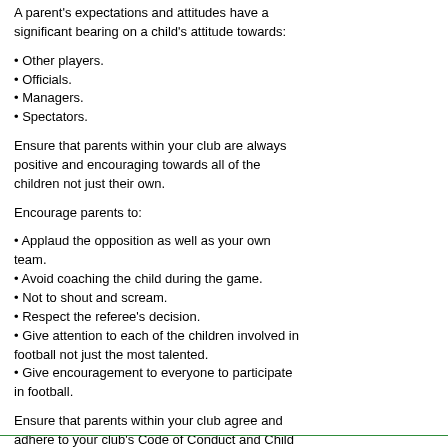A parent's expectations and attitudes have a significant bearing on a child's attitude towards:
• Other players.
• Officials.
• Managers.
• Spectators.
Ensure that parents within your club are always positive and encouraging towards all of the children not just their own.
Encourage parents to:
• Applaud the opposition as well as your own team.
• Avoid coaching the child during the game.
• Not to shout and scream.
• Respect the referee's decision.
• Give attention to each of the children involved in football not just the most talented.
• Give encouragement to everyone to participate in football.
Ensure that parents within your club agree and adhere to your club's Code of Conduct and Child Protection Policy.